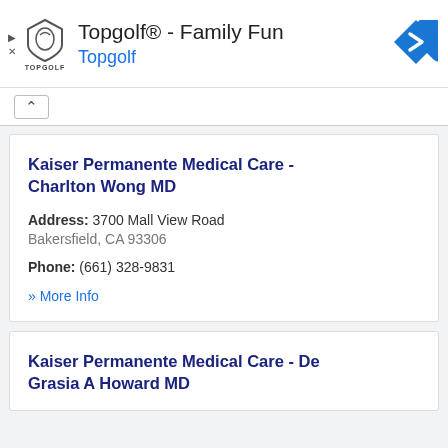[Figure (screenshot): Topgolf advertisement banner with shield logo, 'Topgolf® - Family Fun' title, 'Topgolf' subtitle in blue, and a blue navigation arrow icon]
Kaiser Permanente Medical Care - Charlton Wong MD
Address: 3700 Mall View Road
Bakersfield, CA 93306
Phone: (661) 328-9831
» More Info
Kaiser Permanente Medical Care - De Grasia A Howard MD